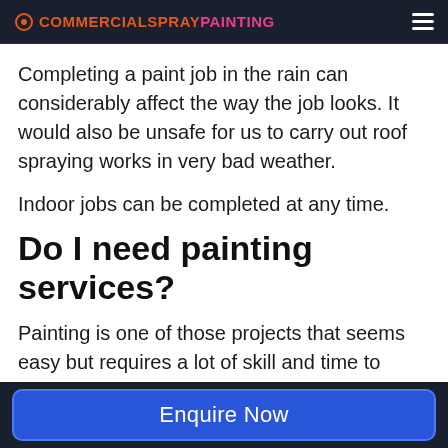COMMERCIALSPRAYPAINTING
Completing a paint job in the rain can considerably affect the way the job looks. It would also be unsafe for us to carry out roof spraying works in very bad weather.
Indoor jobs can be completed at any time.
Do I need painting services?
Painting is one of those projects that seems easy but requires a lot of skill and time to manage. If your commercial company has
Enquire Now